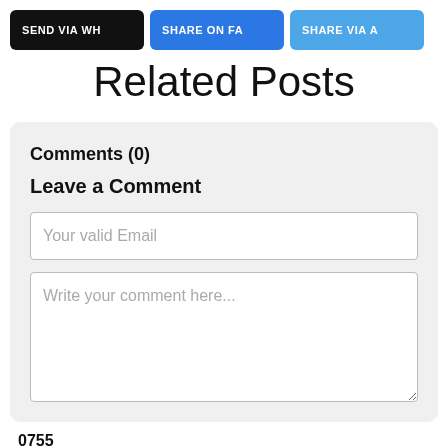[Figure (screenshot): Three share/send buttons: black 'SEND VIA WH...', blue 'SHARE ON FA...', light blue 'SHARE VIA A...']
Related Posts
Comments (0)
Leave a Comment
Your valid Email
Write your comment here...
0755